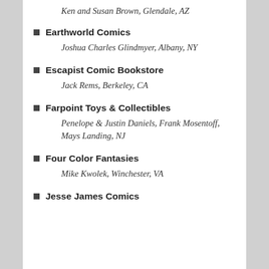Ken and Susan Brown, Glendale, AZ
Earthworld Comics
Joshua Charles Glindmyer, Albany, NY
Escapist Comic Bookstore
Jack Rems, Berkeley, CA
Farpoint Toys & Collectibles
Penelope & Justin Daniels, Frank Mosentoff, Mays Landing, NJ
Four Color Fantasies
Mike Kwolek, Winchester, VA
Jesse James Comics